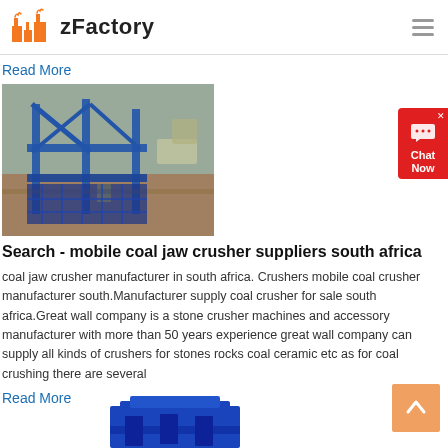zFactory
Read More
[Figure (photo): Aerial or close-up view of industrial mining/crushing equipment, blue metal framework structure at a quarry or mine site]
Search - mobile coal jaw crusher suppliers south africa
coal jaw crusher manufacturer in south africa. Crushers mobile coal crusher manufacturer south.Manufacturer supply coal crusher for sale south africa.Great wall company is a stone crusher machines and accessory manufacturer with more than 50 years experience great wall company can supply all kinds of crushers for stones rocks coal ceramic etc as for coal crushing there are several
Read More
[Figure (photo): Blue industrial coal jaw crusher machine equipment, partially visible at bottom of page]